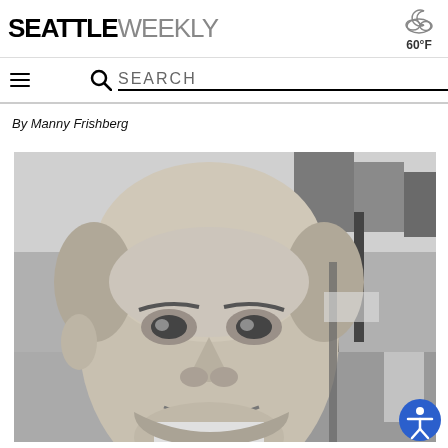SEATTLE WEEKLY — 60°F
By Manny Frishberg
[Figure (photo): Black and white close-up photo of a bald man smiling slightly, taken outdoors on a street. The background shows urban buildings and street furniture. The photo is taken from a low angle looking up at the subject.]
[Figure (logo): Accessibility icon button (circular blue badge with person figure) in the bottom-right corner]